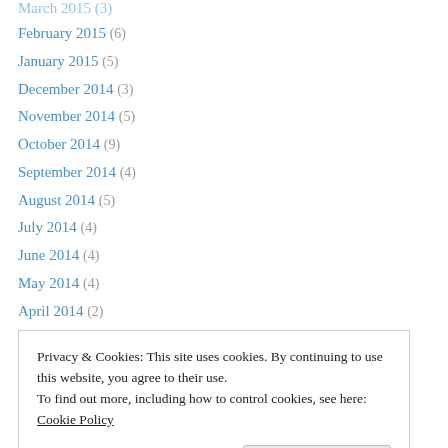February 2015 (6)
January 2015 (5)
December 2014 (3)
November 2014 (5)
October 2014 (9)
September 2014 (4)
August 2014 (5)
July 2014 (4)
June 2014 (4)
May 2014 (4)
April 2014 (2)
March 2014 (4)
February 2014 (8)
Privacy & Cookies: This site uses cookies. By continuing to use this website, you agree to their use.
To find out more, including how to control cookies, see here: Cookie Policy
August 2013 (3)